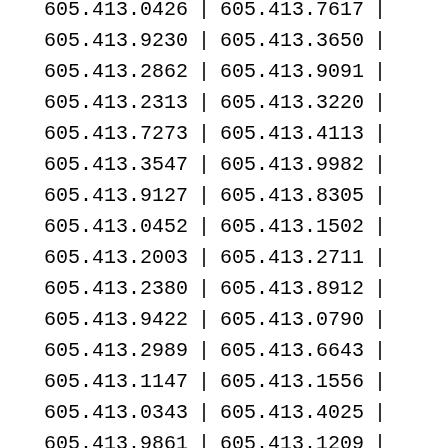| Column1 | sep | Column2 | sep |
| --- | --- | --- | --- |
| 605.413.0426 | | | 605.413.7617 | | |
| 605.413.9230 | | | 605.413.3650 | | |
| 605.413.2862 | | | 605.413.9091 | | |
| 605.413.2313 | | | 605.413.3220 | | |
| 605.413.7273 | | | 605.413.4113 | | |
| 605.413.3547 | | | 605.413.9982 | | |
| 605.413.9127 | | | 605.413.8305 | | |
| 605.413.0452 | | | 605.413.1502 | | |
| 605.413.2003 | | | 605.413.2711 | | |
| 605.413.2380 | | | 605.413.8912 | | |
| 605.413.9422 | | | 605.413.0790 | | |
| 605.413.2989 | | | 605.413.6643 | | |
| 605.413.1147 | | | 605.413.1556 | | |
| 605.413.0343 | | | 605.413.4025 | | |
| 605.413.9861 | | | 605.413.1209 | | |
| 605.413.3235 | | | 605.413.4439 | | |
| 605.413.9426 | | | 605.413.3179 | | |
| 605.413.9650 | | | 605.413.7616 | | |
| 605.413.2644 | | | 605.413.3936 | | |